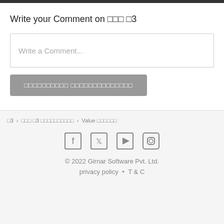Write your Comment on ??? ?3
Write a Comment...
?????????? ??????????????
?3 > ??? ?3 ?????????? > Value ??????
[Figure (infographic): Social media icons: Facebook, Twitter, YouTube, Instagram]
© 2022 Girnar Software Pvt. Ltd.
privacy policy • T & C